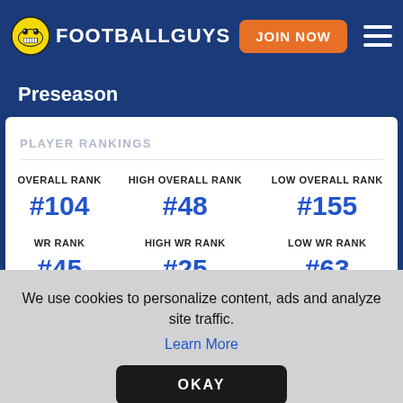FOOTBALLGUYS — JOIN NOW
Preseason
| OVERALL RANK | HIGH OVERALL RANK | LOW OVERALL RANK | WR RANK | HIGH WR RANK | LOW WR RANK |
| --- | --- | --- | --- | --- | --- |
| #104 | #48 | #155 |
| #45 | #25 | #63 |
We use cookies to personalize content, ads and analyze site traffic.
Learn More
OKAY